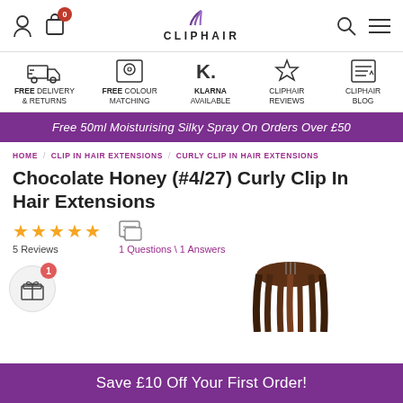CLIPHAIR
[Figure (infographic): Feature bar with icons: FREE DELIVERY & RETURNS, FREE COLOUR MATCHING, KLARNA AVAILABLE, CLIPHAIR REVIEWS, CLIPHAIR BLOG]
Free 50ml Moisturising Silky Spray On Orders Over £50
HOME / CLIP IN HAIR EXTENSIONS / CURLY CLIP IN HAIR EXTENSIONS
Chocolate Honey (#4/27) Curly Clip In Hair Extensions
5 Reviews
1 Questions \ 1 Answers
[Figure (photo): Photo of curly chocolate honey hair extensions clip-in weft]
Save £10 Off Your First Order!